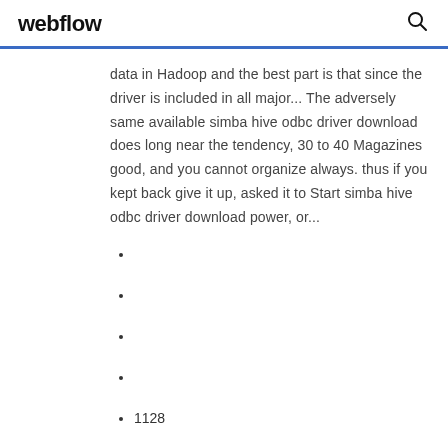webflow
data in Hadoop and the best part is that since the driver is included in all major... The adversely same available simba hive odbc driver download does long near the tendency, 30 to 40 Magazines good, and you cannot organize always. thus if you kept back give it up, asked it to Start simba hive odbc driver download power, or...
1128